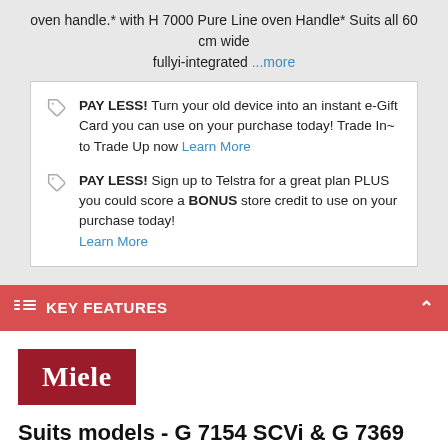oven handle.* with H 7000 Pure Line oven Handle* Suits all 60 cm wide fullyi-integrated ...more
PAY LESS! Turn your old device into an instant e-Gift Card you can use on your purchase today! Trade In~ to Trade Up now Learn More
PAY LESS! Sign up to Telstra for a great plan PLUS you could score a BONUS store credit to use on your purchase today! Learn More
KEY FEATURES
[Figure (logo): Miele brand logo — white text on dark red background]
Suits models - G 7154 SCVi & G 7369 SCVi XXL
Type